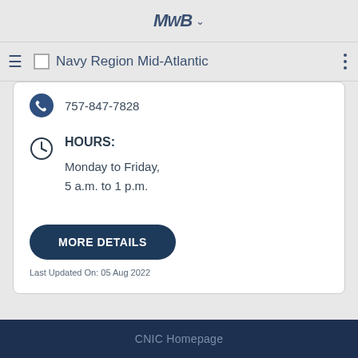MWR Navy Region Mid-Atlantic
757-847-7828
HOURS:
Monday to Friday,
5 a.m. to 1 p.m.
MORE DETAILS
Last Updated On: 05 Aug 2022
CNIC Homepage